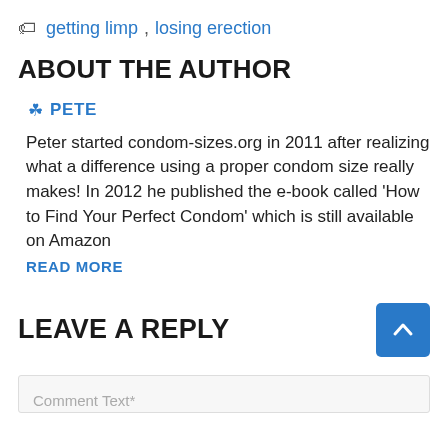🏷 getting limp, losing erection
ABOUT THE AUTHOR
👤 PETE
Peter started condom-sizes.org in 2011 after realizing what a difference using a proper condom size really makes! In 2012 he published the e-book called 'How to Find Your Perfect Condom' which is still available on Amazon
READ MORE
LEAVE A REPLY
Comment Text*